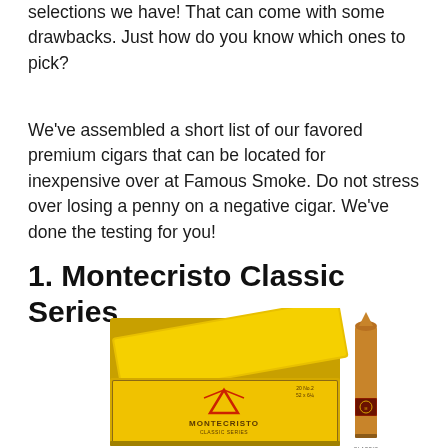selections we have! That can come with some drawbacks. Just how do you know which ones to pick?
We've assembled a short list of our favored premium cigars that can be located for inexpensive over at Famous Smoke. Do not stress over losing a penny on a negative cigar. We've done the testing for you!
1. Montecristo Classic Series
[Figure (photo): Photo of Montecristo Classic Series cigar box (yellow/gold, open lid) with a single cigar standing upright beside it.]